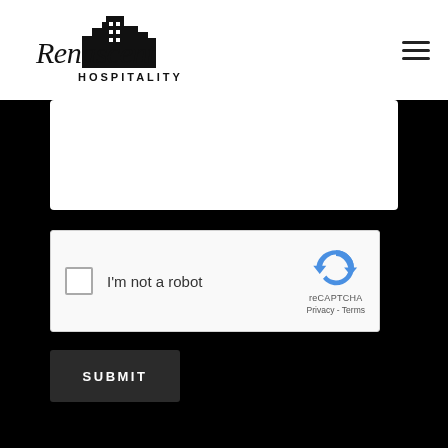[Figure (logo): Renascent Hospitality logo with building silhouette and cursive-style text]
[Figure (screenshot): Hamburger menu icon (three horizontal lines) in top right corner]
[Figure (screenshot): White message/text input box area]
[Figure (screenshot): reCAPTCHA widget with checkbox, 'I'm not a robot' text, reCAPTCHA logo, Privacy and Terms links]
[Figure (screenshot): Dark gray SUBMIT button with white uppercase text]